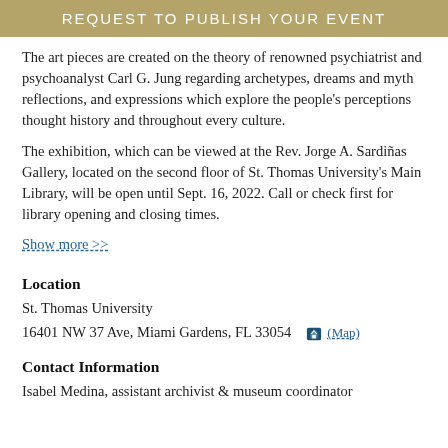REQUEST TO PUBLISH YOUR EVENT
The art pieces are created on the theory of renowned psychiatrist and psychoanalyst Carl G. Jung regarding archetypes, dreams and myth reflections, and expressions which explore the people’s perceptions thought history and throughout every culture.
The exhibition, which can be viewed at the Rev. Jorge A. Sardiñas Gallery, located on the second floor of St. Thomas University’s Main Library, will be open until Sept. 16, 2022. Call or check first for library opening and closing times.
Show more >>
Location
St. Thomas University
16401 NW 37 Ave, Miami Gardens, FL 33054 (Map)
Contact Information
Isabel Medina, assistant archivist & museum coordinator